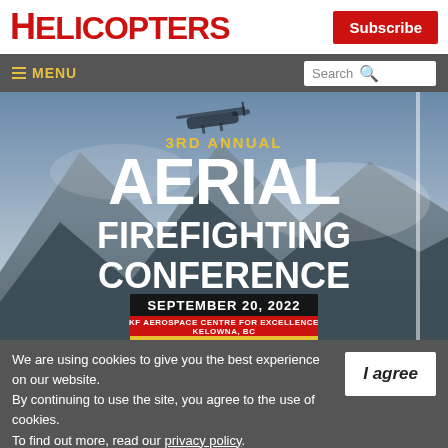HELICOPTERS
Subscribe
≡ MENU  Search
[Figure (photo): 3RD ANNUAL AERIAL FIREFIGHTING CONFERENCE banner with helicopter over mountains background. September 20, 2022. KF Aerospace Centre for Excellence, Kelowna, BC.]
We are using cookies to give you the best experience on our website. By continuing to use the site, you agree to the use of cookies. To find out more, read our privacy policy.
I agree